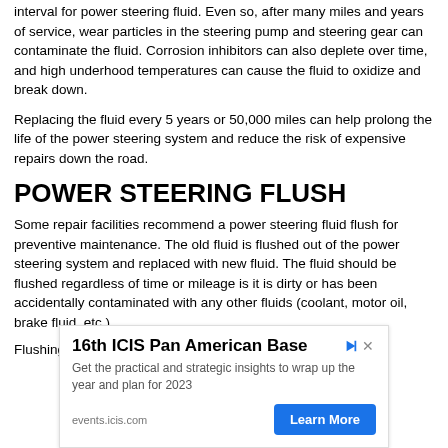interval for power steering fluid. Even so, after many miles and years of service, wear particles in the steering pump and steering gear can contaminate the fluid. Corrosion inhibitors can also deplete over time, and high underhood temperatures can cause the fluid to oxidize and break down.
Replacing the fluid every 5 years or 50,000 miles can help prolong the life of the power steering system and reduce the risk of expensive repairs down the road.
POWER STEERING FLUSH
Some repair facilities recommend a power steering fluid flush for preventive maintenance. The old fluid is flushed out of the power steering system and replaced with new fluid. The fluid should be flushed regardless of time or mileage is it is dirty or has been accidentally contaminated with any other fluids (coolant, motor oil, brake fluid, etc.).
Flushing is mostly beneficial to newer vehicles with very...
[Figure (other): Advertisement banner for 16th ICIS Pan American Base conference. Title: '16th ICIS Pan American Base'. Body: 'Get the practical and strategic insights to wrap up the year and plan for 2023'. URL: events.icis.com. CTA button: 'Learn More']